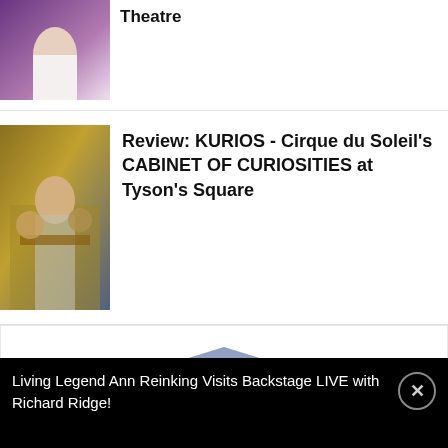[Figure (photo): Partial image of a performer at a theatre, top of page]
Theatre
[Figure (photo): Cirque du Soleil performers on stage with colorful costumes]
Review: KURIOS - Cirque du Soleil's CABINET OF CURIOSITIES at Tyson's Square
[Figure (infographic): Email newsletter signup box with envelope icon, Get Broadway News title, email input and Sign Up button]
Living Legend Ann Reinking Visits Backstage LIVE with Richard Ridge!